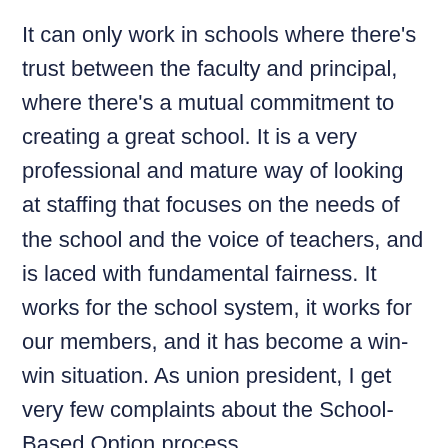It can only work in schools where there's trust between the faculty and principal, where there's a mutual commitment to creating a great school. It is a very professional and mature way of looking at staffing that focuses on the needs of the school and the voice of teachers, and is laced with fundamental fairness. It works for the school system, it works for our members, and it has become a win-win situation. As union president, I get very few complaints about the School-Based Option process.
Over time, the combination of the 15 percent